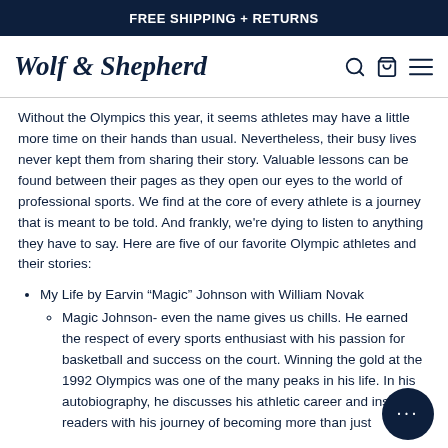FREE SHIPPING + RETURNS
Wolf & Shepherd
Without the Olympics this year, it seems athletes may have a little more time on their hands than usual. Nevertheless, their busy lives never kept them from sharing their story. Valuable lessons can be found between their pages as they open our eyes to the world of professional sports. We find at the core of every athlete is a journey that is meant to be told. And frankly, we're dying to listen to anything they have to say. Here are five of our favorite Olympic athletes and their stories:
My Life by Earvin “Magic” Johnson with William Novak
Magic Johnson- even the name gives us chills. He earned the respect of every sports enthusiast with his passion for basketball and success on the court. Winning the gold at the 1992 Olympics was one of the many peaks in his life. In his autobiography, he discusses his athletic career and inspires readers with his journey of becoming more than just